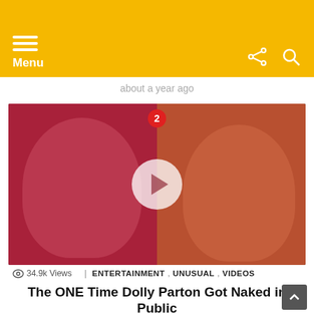Menu
about a year ago
[Figure (photo): Two photos of Dolly Parton side by side — one vintage from the 1980s with big curly blonde hair wearing a low-cut outfit, and one modern showing her smiling in a pink jacket. A play button is overlaid in the center, and a red badge with '2' appears at the top.]
© 34.9k Views   ENTERTAINMENT , UNUSUAL , VIDEOS
The ONE Time Dolly Parton Got Naked in Public
Way back in 1980, Dolly Parton sat down with Chet Flippo of Rolling Stone magazine for what she thought was just going to be a typical interview. But she ended up spilling the beans on one of the most embarrassing chapters of her life instead.  Flippo asked Parton about